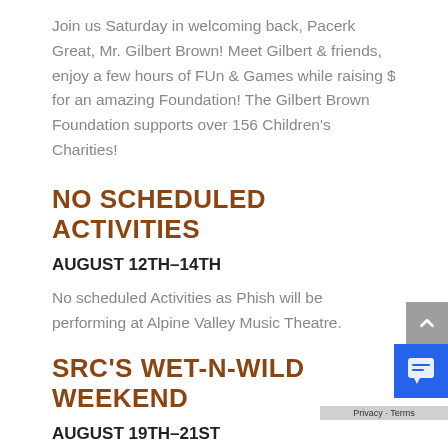Join us Saturday in welcoming back, Pacerk Great, Mr. Gilbert Brown! Meet Gilbert & friends, enjoy a few hours of FUn & Games while raising $ for an amazing Foundation! The Gilbert Brown Foundation supports over 156 Children's Charities!
NO SCHEDULED ACTIVITIES
AUGUST 12TH–14TH
No scheduled Activities as Phish will be performing at Alpine Valley Music Theatre.
SRC'S WET-N-WILD WEEKEND
AUGUST 19TH–21ST
Let's get WET! Let's get WILD! Let's have some FUN! Bring on the squirt guns, super soakers,